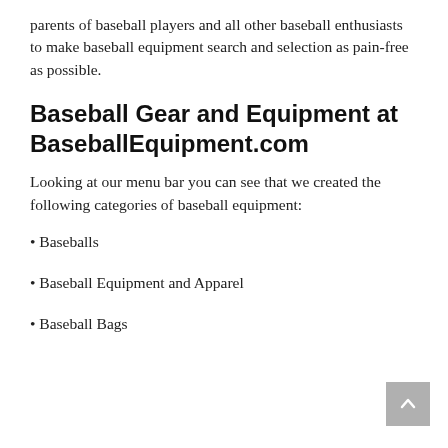parents of baseball players and all other baseball enthusiasts to make baseball equipment search and selection as pain-free as possible.
Baseball Gear and Equipment at BaseballEquipment.com
Looking at our menu bar you can see that we created the following categories of baseball equipment:
• Baseballs
• Baseball Equipment and Apparel
• Baseball Bags